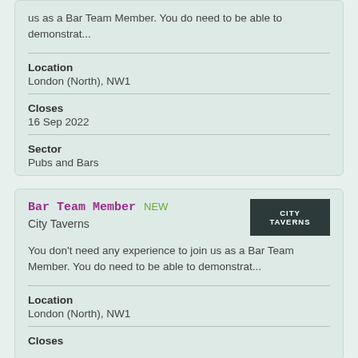us as a Bar Team Member. You do need to be able to demonstrat...
Location
London (North), NW1
Closes
16 Sep 2022
Sector
Pubs and Bars
Bar Team Member NEW
City Taverns
You don't need any experience to join us as a Bar Team Member. You do need to be able to demonstrat...
Location
London (North), NW1
Closes